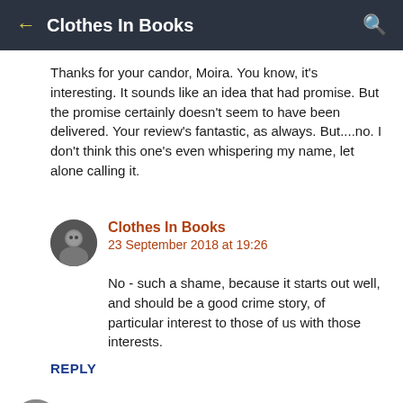Clothes In Books
Thanks for your candor, Moira. You know, it's interesting. It sounds like an idea that had promise. But the promise certainly doesn't seem to have been delivered. Your review's fantastic, as always. But....no. I don't think this one's even whispering my name, let alone calling it.
Clothes In Books
23 September 2018 at 19:26
No - such a shame, because it starts out well, and should be a good crime story, of particular interest to those of us with those interests.
REPLY
Christine  22 September 2018 at 17:31